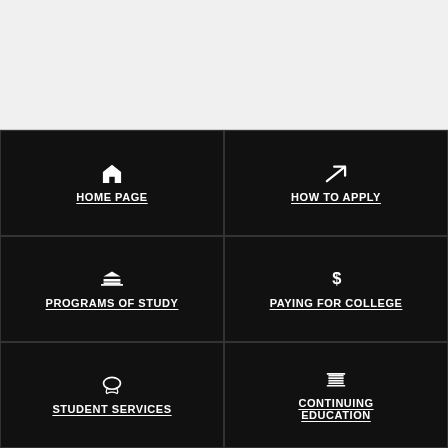[Figure (screenshot): Top navigation bar area with light gray background]
HOME PAGE
HOW TO APPLY
PROGRAMS OF STUDY
PAYING FOR COLLEGE
STUDENT SERVICES
CONTINUING EDUCATION